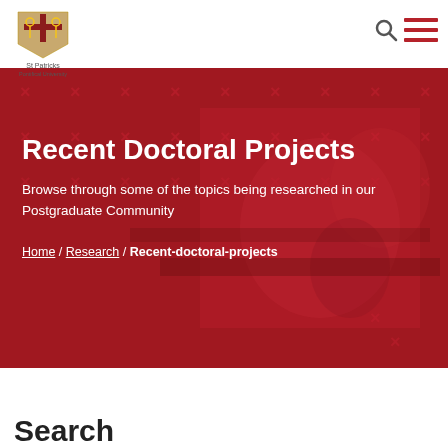St Patricks Pontifical University — navigation header with logo, search icon, and menu icon
[Figure (photo): Red-tinted hero banner showing people seated at a table in a classroom/meeting setting, with a repeating X pattern overlay on the background.]
Recent Doctoral Projects
Browse through some of the topics being researched in our Postgraduate Community
Home / Research / Recent-doctoral-projects